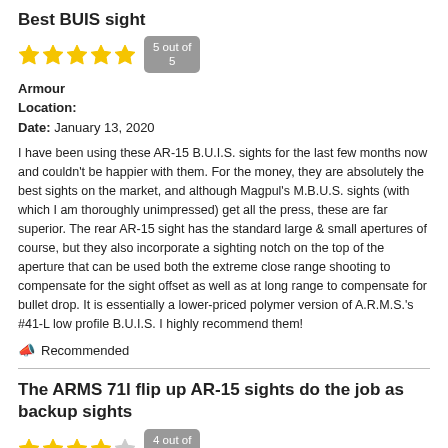Best BUIS sight
5 out of 5
Armour
Location:
Date: January 13, 2020
I have been using these AR-15 B.U.I.S. sights for the last few months now and couldn't be happier with them. For the money, they are absolutely the best sights on the market, and although Magpul's M.B.U.S. sights (with which I am thoroughly unimpressed) get all the press, these are far superior. The rear AR-15 sight has the standard large & small apertures of course, but they also incorporate a sighting notch on the top of the aperture that can be used both the extreme close range shooting to compensate for the sight offset as well as at long range to compensate for bullet drop. It is essentially a lower-priced polymer version of A.R.M.S.'s #41-L low profile B.U.I.S. I highly recommend them!
Recommended
The ARMS 71l flip up AR-15 sights do the job as backup sights
4 out of 5
Becks
Location:
Date: January 13, 2020
The ARMS 71l flip up AR-15 sights do the job as backup sights